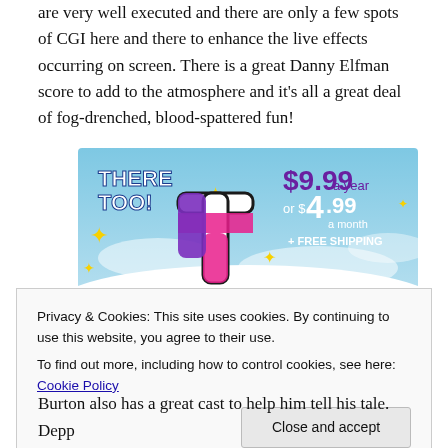are very well executed and there are only a few spots of CGI here and there to enhance the live effects occurring on screen. There is a great Danny Elfman score to add to the atmosphere and it's all a great deal of fog-drenched, blood-spattered fun!
[Figure (illustration): Advertisement image showing a Tumblr-style 't' logo in pink/purple with yellow sparkles on a blue sky background, with text showing pricing: 'THERE TOO!', '$9.99 a year or $4.99 a month + FREE SHIPPING']
Privacy & Cookies: This site uses cookies. By continuing to use this website, you agree to their use.
To find out more, including how to control cookies, see here: Cookie Policy
Burton also has a great cast to help him tell his tale. Depp